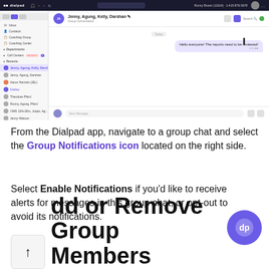[Figure (screenshot): Screenshot of the Dialpad desktop app showing a group chat conversation with Jenny, Agung, Kelly, Darshan. The left sidebar shows navigation items including Inbox, Contacts, Coaching Group, Coaching Center, Departments, Call Centers (with ON DUTY badge), Recents list with multiple contacts. The main chat area shows the group chat header, a chat bubble saying 'Hello everyone! The reports need to be reviewed!' and a message input bar at the bottom.]
From the Dialpad app, navigate to a group chat and select the Group Notifications icon located on the right side.
Select Enable Notifications if you'd like to receive alerts for messages in this group chat, or opt-out to avoid its notifications.
Add or Remove Group Members